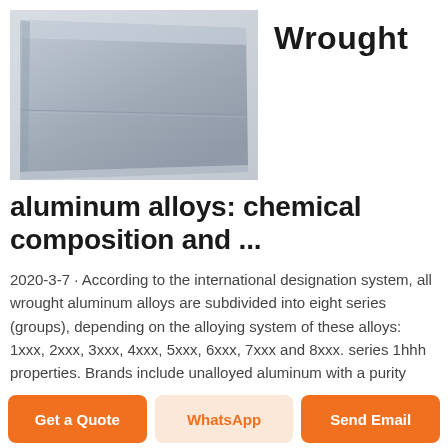[Figure (photo): Photo of a flat grey aluminum alloy plate/sheet on a light surface, showing metallic texture and a subtle fold/crease line]
Wrought aluminum alloys: chemical composition and ...
2020-3-7 · According to the international designation system, all wrought aluminum alloys are subdivided into eight series (groups), depending on the alloying system of these alloys: 1xxx, 2xxx, 3xxx, 4xxx, 5xxx, 6xxx, 7xxx and 8xxx. series 1hhh properties. Brands include unalloyed aluminum with a purity 99,00 % and higher (table 1).
Get a Quote
WhatsApp
Send Email